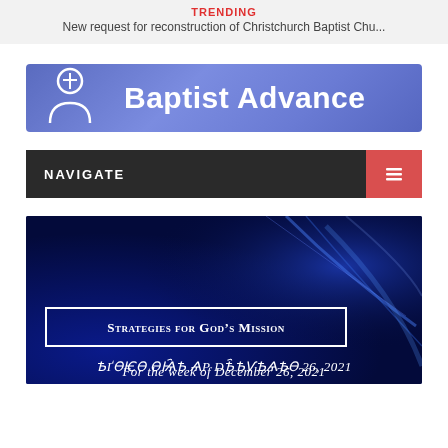TRENDING
New request for reconstruction of Christchurch Baptist Chu...
[Figure (logo): Baptist Advance logo with person/cross icon on blue-purple gradient background]
NAVIGATE
[Figure (photo): Dark blue background with light streaks, text box reading 'Strategies for God's Mission' and partial subtitle text below]